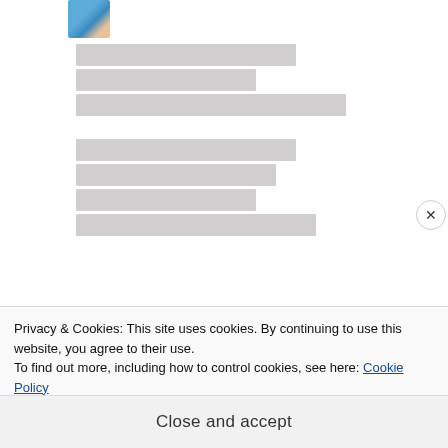[Figure (photo): Small avatar/profile photo thumbnail in top-left of content area]
[Redacted text block - non-Latin script, line 1]
[Redacted text block - non-Latin script, line 2]
[Redacted text block - non-Latin script, line 3]
[Redacted text block - non-Latin script, line 4]
[Redacted text block - non-Latin script, line 5]
[Redacted text block - non-Latin script, line 6]
[Redacted text block - non-Latin script, line 7]
Privacy & Cookies: This site uses cookies. By continuing to use this website, you agree to their use.
To find out more, including how to control cookies, see here: Cookie Policy
Close and accept